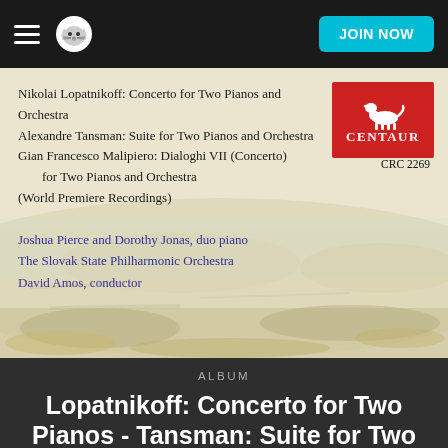JOIN NOW
[Figure (photo): Album cover for Centaur Records CRC 2269. Painterly landscape background (beige/cream tones). Text overlay: 'Nikolai Lopatnikoff: Concerto for Two Pianos and Orchestra / Alexandre Tansman: Suite for Two Pianos and Orchestra / Gian Francesco Malipiero: Dialoghi VII (Concerto) for Two Pianos and Orchestra / (World Premiere Recordings)' and 'Joshua Pierce and Dorothy Jonas, duo piano / The Slovak State Philharmonic Orchestra / David Amos, conductor'. Red Centaur Records logo box top right with horse figure, label 'CENTAUR', catalog number 'CRC 2269'.]
ALBUM
Lopatnikoff: Concerto for Two Pianos - Tansman: Suite for Two Pianos - Malpiero: